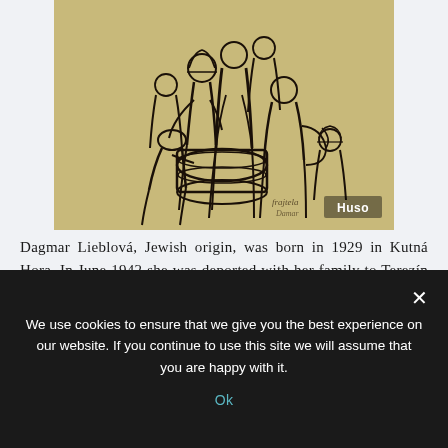[Figure (illustration): A pencil/charcoal sketch on aged beige paper showing a group of people (figures in coats and hats) gathered around a large barrel. A 'Huso' watermark label appears in the lower right of the image.]
Dagmar Lieblová, Jewish origin, was born in 1929 in Kutná Hora. In June 1942 she was deported with her family to Terezín and, later, the so-called Birkenau family camp. His grandmother died during the transfer. Her parents and sister were killed in
We use cookies to ensure that we give you the best experience on our website. If you continue to use this site we will assume that you are happy with it.
Ok